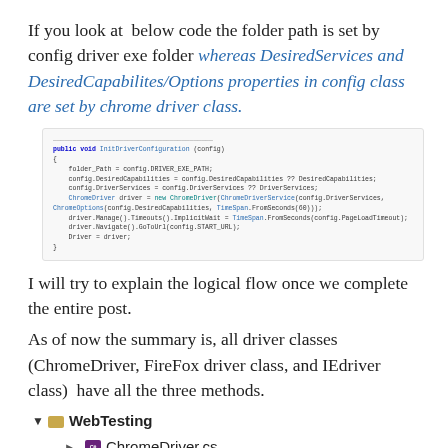If you look at  below code the folder path is set by config driver exe folder whereas DesiredServices and DesiredCapabilites/Options properties in config class are set by chrome driver class.
[Figure (screenshot): A code block showing a C# method InitializeDriverConfiguration(config) with code setting folder_path, DesiredCapabilities, DriverServices, creating a ChromeDriver instance, setting timeouts, navigating, and assigning driver.]
I will try to explain the logical flow once we complete the entire post.
As of now the summary is, all driver classes (ChromeDriver, FireFox driver class, and IEdriver class)  have all the three methods.
[Figure (screenshot): File tree showing WebTesting folder with ChromeDriver.cs file inside.]